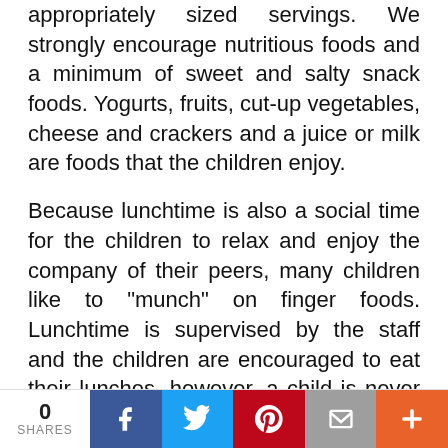appropriately sized servings. We strongly encourage nutritious foods and a minimum of sweet and salty snack foods. Yogurts, fruits, cut-up vegetables, cheese and crackers and a juice or milk are foods that the children enjoy.
Because lunchtime is also a social time for the children to relax and enjoy the company of their peers, many children like to “munch” on finger foods. Lunchtime is supervised by the staff and the children are encouraged to eat their lunches, however, a child is never told to fin[ish if they have] had enough. The [children are directed t]o eat their
[Figure (other): Red pill-shaped button overlay reading 'Schedule a Tour Today']
0 SHARES | Facebook | Twitter | Pinterest | Mail | More